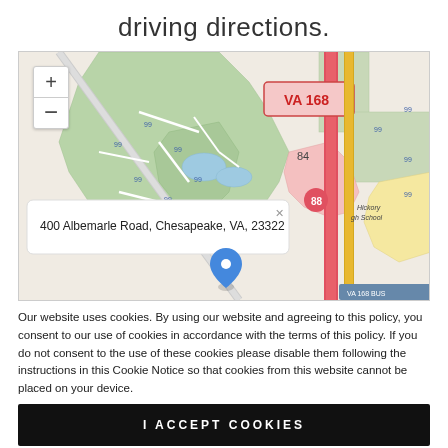driving directions.
[Figure (map): Street map showing area around 400 Albemarle Road, Chesapeake, VA 23322. Shows VA 168 highway (red), route 88, green wooded/park areas, road network. Blue location pin marks the address. Popup tooltip displays the full address.]
Our website uses cookies. By using our website and agreeing to this policy, you consent to our use of cookies in accordance with the terms of this policy. If you do not consent to the use of these cookies please disable them following the instructions in this Cookie Notice so that cookies from this website cannot be placed on your device.
I ACCEPT COOKIES